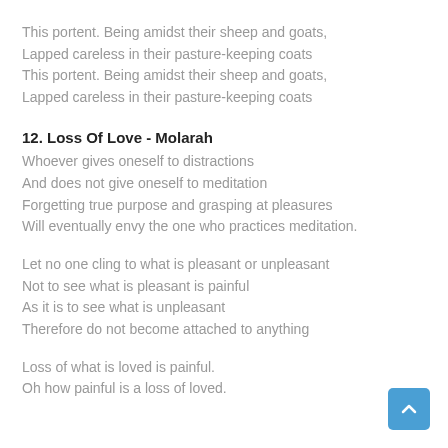This portent. Being amidst their sheep and goats,
Lapped careless in their pasture-keeping coats
This portent. Being amidst their sheep and goats,
Lapped careless in their pasture-keeping coats
12. Loss Of Love - Molarah
Whoever gives oneself to distractions
And does not give oneself to meditation
Forgetting true purpose and grasping at pleasures
Will eventually envy the one who practices meditation.
Let no one cling to what is pleasant or unpleasant
Not to see what is pleasant is painful
As it is to see what is unpleasant
Therefore do not become attached to anything
Loss of what is loved is painful.
Oh how painful is a loss of loved.